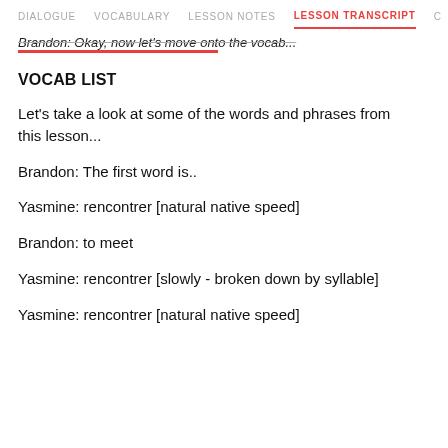DIALOGUE   VOCABULARY   LESSON NOTES   LESSON TRANSCRIPT   C
Brandon: Okay, now let's move onto the vocab...
VOCAB LIST
Let's take a look at some of the words and phrases from this lesson...
Brandon: The first word is..
Yasmine: rencontrer [natural native speed]
Brandon: to meet
Yasmine: rencontrer [slowly - broken down by syllable]
Yasmine: rencontrer [natural native speed]